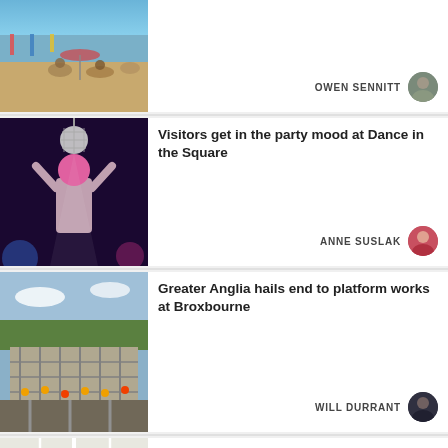[Figure (photo): Beach scene with people sitting on sand, colourful windbreaks and parasols]
OWEN SENNITT
[Figure (photo): Performer with pink hair and disco ball on stage at Dance in the Square event]
Visitors get in the party mood at Dance in the Square
ANNE SUSLAK
[Figure (photo): Aerial view of railway platform construction works at Broxbourne with workers in high-vis]
Greater Anglia hails end to platform works at Broxbourne
WILL DURRANT
[Figure (photo): Map screenshot showing city area]
Drivers face £5 congestion charge in city, but bus fares could drop